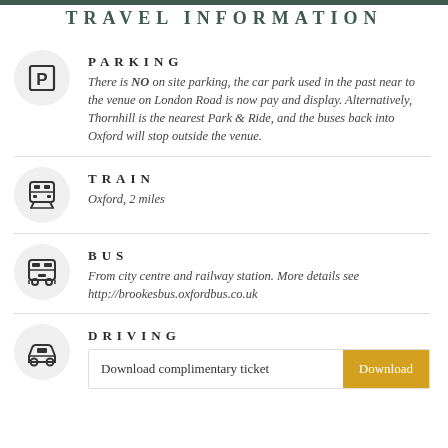TRAVEL INFORMATION
PARKING
There is NO on site parking, the car park used in the past near to the venue on London Road is now pay and display. Alternatively, Thornhill is the nearest Park & Ride, and the buses back into Oxford will stop outside the venue.
TRAIN
Oxford, 2 miles
BUS
From city centre and railway station. More details see http://brookesbus.oxfordbus.co.uk
DRIVING
Download complimentary ticket